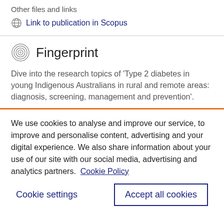Other files and links
Link to publication in Scopus
Fingerprint
Dive into the research topics of 'Type 2 diabetes in young Indigenous Australians in rural and remote areas: diagnosis, screening, management and prevention'.
We use cookies to analyse and improve our service, to improve and personalise content, advertising and your digital experience. We also share information about your use of our site with our social media, advertising and analytics partners.  Cookie Policy
Cookie settings
Accept all cookies